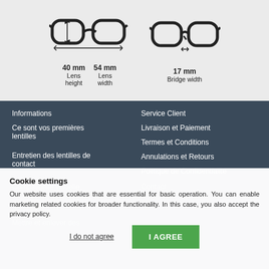[Figure (illustration): Two pairs of glasses diagrams showing lens measurements. Left pair shows lens height (40 mm) and lens width (54 mm) with arrows. Right pair shows bridge width (17 mm) with arrow.]
Informations
Ce sont vos premières lentilles
Entretien des lentilles de contact
Service Client
Livraison et Paiement
Termes et Conditions
Annulations et Retours
Politique de Confidentialité
Contact
Cookie settings
Our website uses cookies that are essential for basic operation. You can enable marketing related cookies for broader functionality. In this case, you also accept the privacy policy.
I do not agree
I AGREE